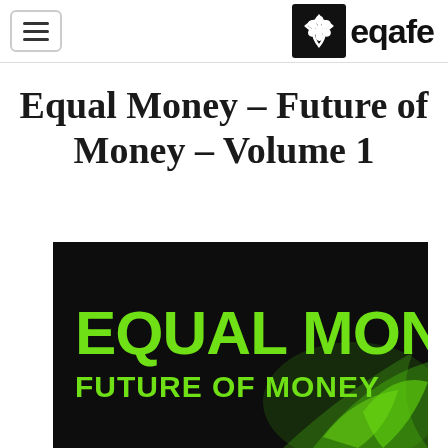eqafe
Equal Money - Future of Money - Volume 1
[Figure (illustration): Book cover with black background showing 'EQUAL MONEY' in large bold green text and 'FUTURE OF MONEY' in smaller bold green text below, with a green stylized graphic element.]